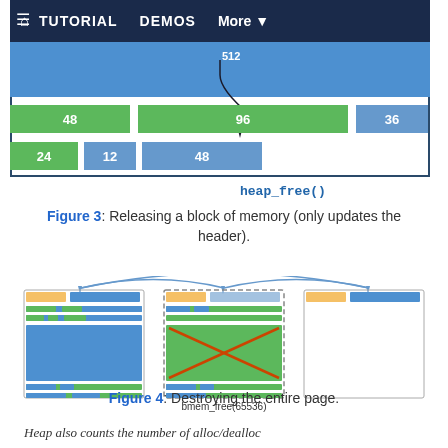[Figure (screenshot): Screenshot of a web tutorial showing a navigation bar with home icon, TUTORIAL, DEMOS, More dropdown. Below is a memory allocator diagram showing colored blocks labeled 48, 96, 36, 24, 12, 48 with a heap_free() annotation arrow pointing to the 96 block.]
Figure 3: Releasing a block of memory (only updates the header).
[Figure (engineering-diagram): Diagram of three memory page blocks connected by arcs. The middle block has an X through it and is labeled bmem_free(65536), indicating the page is being destroyed.]
Figure 4: Destroying the entire page.
Heap also counts the number of alloc/dealloc